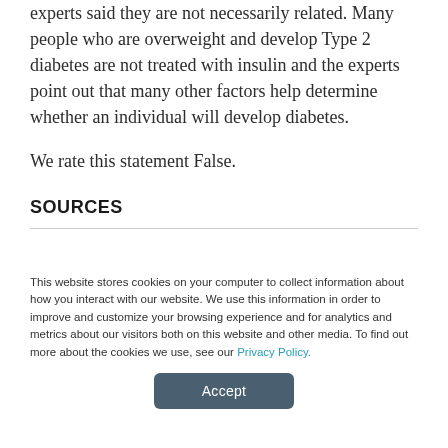experts said they are not necessarily related. Many people who are overweight and develop Type 2 diabetes are not treated with insulin and the experts point out that many other factors help determine whether an individual will develop diabetes.
We rate this statement False.
SOURCES
This website stores cookies on your computer to collect information about how you interact with our website. We use this information in order to improve and customize your browsing experience and for analytics and metrics about our visitors both on this website and other media. To find out more about the cookies we use, see our Privacy Policy.